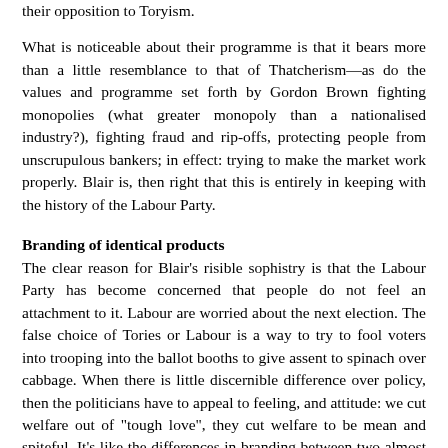their opposition to Toryism.
What is noticeable about their programme is that it bears more than a little resemblance to that of Thatcherism—as do the values and programme set forth by Gordon Brown fighting monopolies (what greater monopoly than a nationalised industry?), fighting fraud and rip-offs, protecting people from unscrupulous bankers; in effect: trying to make the market work properly. Blair is, then right that this is entirely in keeping with the history of the Labour Party.
Branding of identical products
The clear reason for Blair's risible sophistry is that the Labour Party has become concerned that people do not feel an attachment to it. Labour are worried about the next election. The false choice of Tories or Labour is a way to try to fool voters into trooping into the ballot booths to give assent to spinach over cabbage. When there is little discernible difference over policy, then the politicians have to appeal to feeling, and attitude: we cut welfare out of "tough love", they cut welfare to be mean and spiteful. It's like the differences in branding between two almost identical soft-